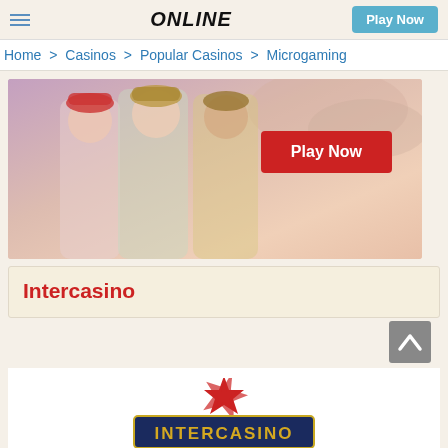≡  ONLINE  Play Now
Home > Casinos > Popular Casinos > Microgaming
[Figure (illustration): Casino banner showing three animated women characters with a red Play Now button on a pink/peach background]
Intercasino
[Figure (logo): Intercasino logo with red star burst and dark navy banner text reading INTERCASINO]
Play Now